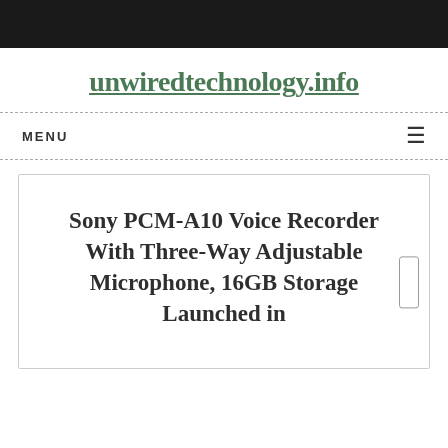unwiredtechnology.info
MENU
Sony PCM-A10 Voice Recorder With Three-Way Adjustable Microphone, 16GB Storage Launched in